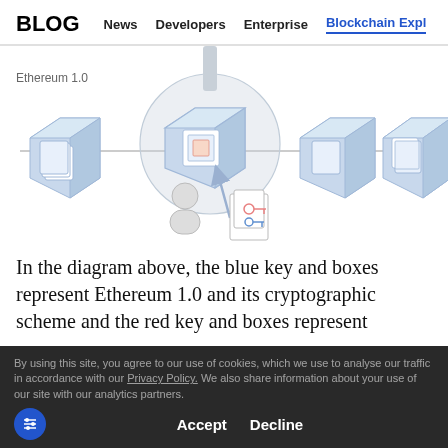BLOG | News | Developers | Enterprise | Blockchain Expl...
[Figure (infographic): Ethereum 1.0 blockchain diagram showing a chain of blue 3D cube blocks connected by a horizontal line. The middle block is highlighted with a magnifying circle. A person icon with a key document below points an arrow to the highlighted block, indicating a transaction. Label reads 'Ethereum 1.0'.]
In the diagram above, the blue key and boxes represent Ethereum 1.0 and its cryptographic scheme and the red key and boxes represent Ethereum 2.0 and its cryptographic scheme. The Ethereum 1.0 Mainnet allows the user to
By using this site, you agree to our use of cookies, which we use to analyse our traffic in accordance with our Privacy Policy. We also share information about your use of our site with our analytics partners. Accept Decline